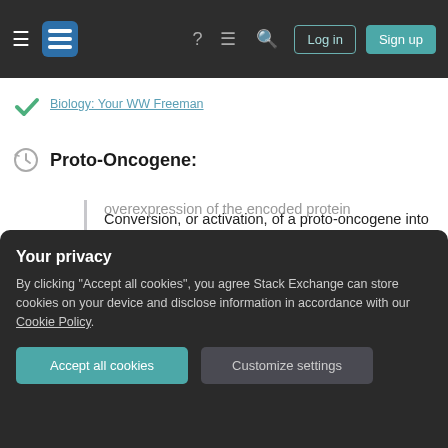Biology: Your WW Freeman (navigation bar with Log in / Sign up)
Biology: Your WW Freeman
Proto-Oncogene:
Conversion, or activation, of a proto-oncogene into an oncogene generally involves a gain-of-function mutation. At least three mechanisms can produce oncogenes from the corresponding proto-oncogenes.
Point mutations in a proto-oncogene
overexpression of the encoded protein
Your privacy
By clicking "Accept all cookies", you agree Stack Exchange can store cookies on your device and disclose information in accordance with our Cookie Policy.